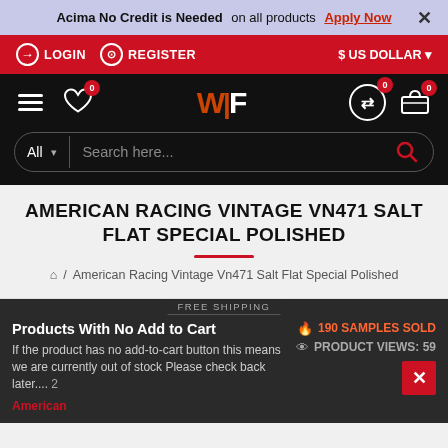Acima No Credit is Needed on all products Apply Now ×
LOGIN  REGISTER  $ US DOLLAR
WF logo header with search bar: All | Search here...
AMERICAN RACING VINTAGE VN471 SALT FLAT SPECIAL POLISHED
American Racing Vintage Vn471 Salt Flat Special Polished
FREE SHIPPING
Products With No Add to Cart
190 SAMPLES SOLD
PRODUCT VIEWS: 59
If the product has no add-to-cart button this means we are currently out of stock Please check back later.... 2
American